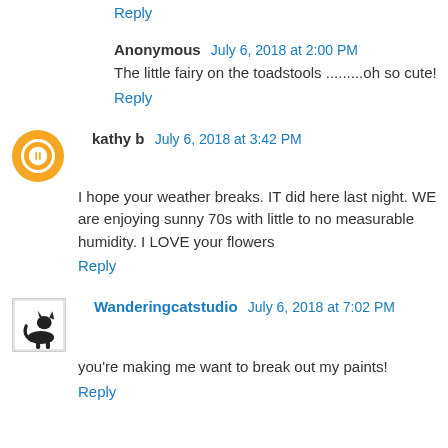Reply
Anonymous  July 6, 2018 at 2:00 PM
The little fairy on the toadstools .........oh so cute!
Reply
kathy b  July 6, 2018 at 3:42 PM
I hope your weather breaks. IT did here last night. WE are enjoying sunny 70s with little to no measurable humidity. I LOVE your flowers
Reply
Wanderingcatstudio  July 6, 2018 at 7:02 PM
you're making me want to break out my paints!
Reply